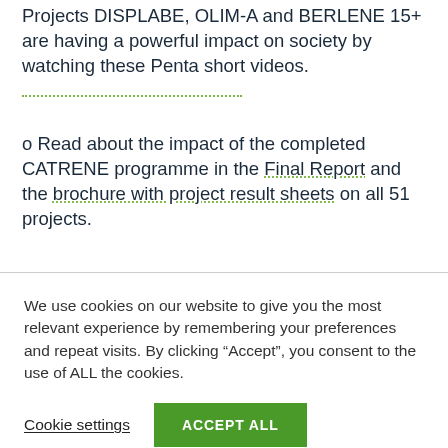Projects DISPLABE, OLIM-A and BERLENE 15+ are having a powerful impact on society by watching these Penta short videos.
o Read about the impact of the completed CATRENE programme in the Final Report and the brochure with project result sheets on all 51 projects.
We use cookies on our website to give you the most relevant experience by remembering your preferences and repeat visits. By clicking “Accept”, you consent to the use of ALL the cookies.
Cookie settings   ACCEPT ALL